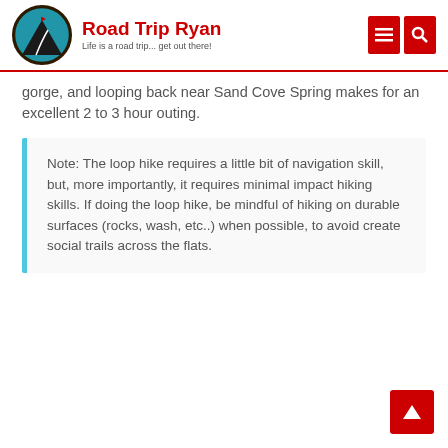Road Trip Ryan — Life is a road trip... get out there!
gorge, and looping back near Sand Cove Spring makes for an excellent 2 to 3 hour outing.
Note: The loop hike requires a little bit of navigation skill, but, more importantly, it requires minimal impact hiking skills. If doing the loop hike, be mindful of hiking on durable surfaces (rocks, wash, etc..) when possible, to avoid create social trails across the flats.